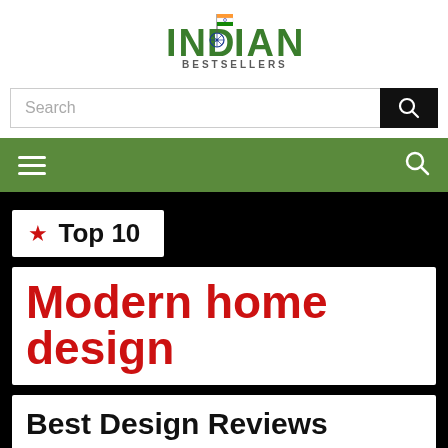[Figure (logo): Indian Bestsellers logo with Indian flag and Ashoka chakra integrated into text]
Search
Navigation bar with hamburger menu and search icon
★ Top 10
Modern home design
Best Design Reviews